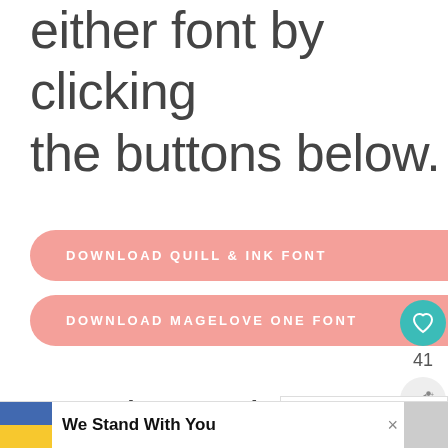either font by clicking the buttons below.
DOWNLOAD QUILL & INK FONT
DOWNLOAD MAGELOVE ONE FONT
[Figure (infographic): Heart icon (like) button in teal circle with count 41 below, and a share icon below that]
snuggle weather cut fi
[Figure (screenshot): WHAT'S NEXT arrow label with FREE Sweater Weather SVG thumbnail]
[Figure (screenshot): SVG CUT FILE banner in dark blue]
[Figure (screenshot): Ad bar: Ukrainian flag colors, We Stand With You text, close X, small image]